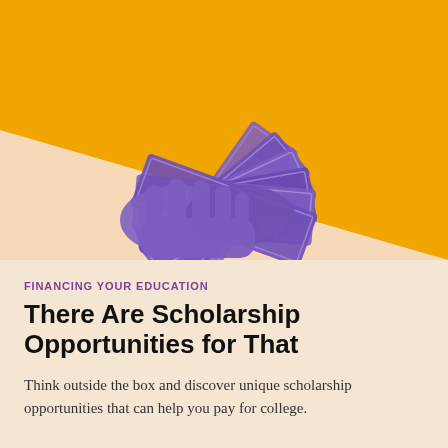[Figure (illustration): Hands holding and fanning out multiple US $100 dollar bills, rendered in purple/violet duotone overlay on an orange background with a light peach triangular shape in the lower portion]
FINANCING YOUR EDUCATION
There Are Scholarship Opportunities for That
Think outside the box and discover unique scholarship opportunities that can help you pay for college.